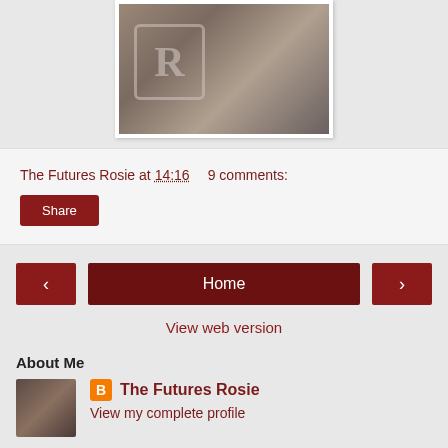[Figure (photo): Photo of a child with a yellow walker/rollator on a cobblestone path, with a large decorative letter R watermark overlay in bottom left]
The Futures Rosie at 14:16   9 comments:
Share
< Home >
View web version
About Me
[Figure (photo): Avatar photo showing two people close together]
The Futures Rosie
View my complete profile